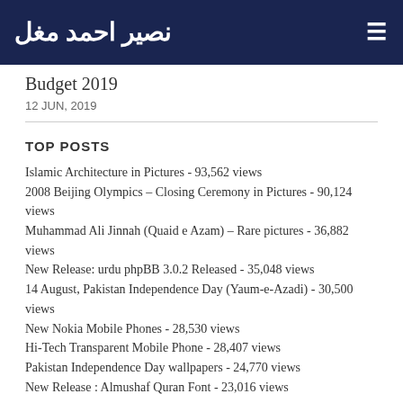نصیر احمد مغل
Budget 2019
12 JUN, 2019
TOP POSTS
Islamic Architecture in Pictures - 93,562 views
2008 Beijing Olympics – Closing Ceremony in Pictures - 90,124 views
Muhammad Ali Jinnah (Quaid e Azam) – Rare pictures - 36,882 views
New Release: urdu phpBB 3.0.2 Released - 35,048 views
14 August, Pakistan Independence Day (Yaum-e-Azadi) - 30,500 views
New Nokia Mobile Phones - 28,530 views
Hi-Tech Transparent Mobile Phone - 28,407 views
Pakistan Independence Day wallpapers - 24,770 views
New Release : Almushaf Quran Font - 23,016 views